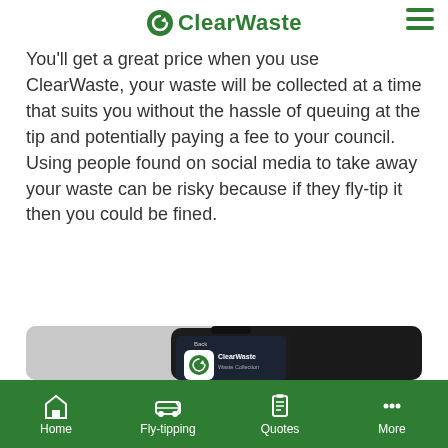ClearWaste
You'll get a great price when you use ClearWaste, your waste will be collected at a time that suits you without the hassle of queuing at the tip and potentially paying a fee to your council. Using people found on social media to take away your waste can be risky because if they fly-tip it then you could be fined.
[Figure (photo): A smartphone displaying the ClearWaste app icon and name on its screen, placed on a light background.]
Home   Fly-tipping   Quotes   More